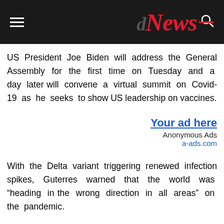News
US President Joe Biden will address the General Assembly for the first time on Tuesday and a day later will convene a virtual summit on Covid-19 as he seeks to show US leadership on vaccines.
[Figure (other): Advertisement block: 'Your ad here' with Anonymous Ads and a-ads.com]
With the Delta variant triggering renewed infection spikes, Guterres warned that the world was “heading in the wrong direction in all areas” on the pandemic.
“It’s absolutely unacceptable that there are countries where 80 percent of the population is vaccinated and